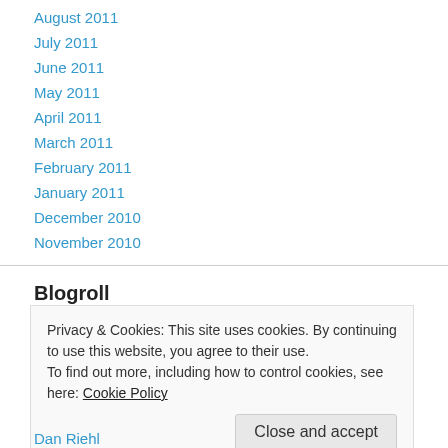August 2011
July 2011
June 2011
May 2011
April 2011
March 2011
February 2011
January 2011
December 2010
November 2010
Blogroll
Privacy & Cookies: This site uses cookies. By continuing to use this website, you agree to their use.
To find out more, including how to control cookies, see here: Cookie Policy
Close and accept
Dan Riehl